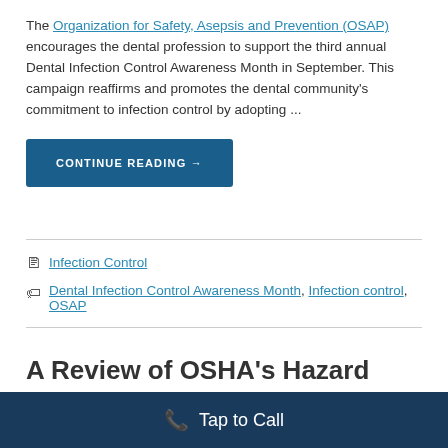The Organization for Safety, Asepsis and Prevention (OSAP) encourages the dental profession to support the third annual Dental Infection Control Awareness Month in September. This campaign reaffirms and promotes the dental community's commitment to infection control by adopting ...
CONTINUE READING →
Infection Control
Dental Infection Control Awareness Month, Infection control, OSAP
A Review of OSHA's Hazard
Tap to Call